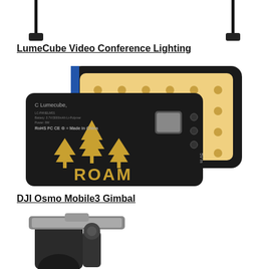[Figure (photo): Two black USB/charging cables on white background, shown from above, partially cropped at top of page]
LumeCube Video Conference Lighting
[Figure (photo): LumeCube ROAM panel light product photo showing front and back views. Back of device is black with gold tree logo and ROAM text with Lumecube branding. Front shows LED panel with warm light array.]
DJI Osmo Mobile3 Gimbal
[Figure (photo): DJI Osmo Mobile 3 Gimbal partially shown at bottom of page, black device with silver clip mechanism]